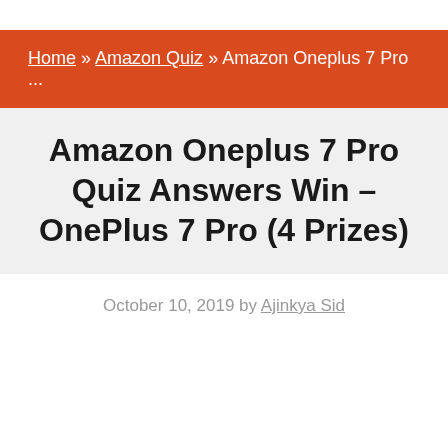Home » Amazon Quiz » Amazon Oneplus 7 Pro ...
Amazon Oneplus 7 Pro Quiz Answers Win – OnePlus 7 Pro (4 Prizes)
October 10, 2019 by Ajinkya Sid